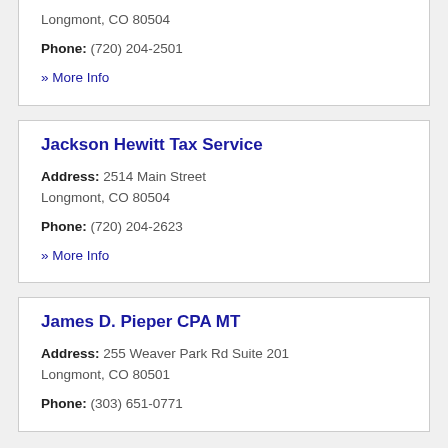Longmont, CO 80504
Phone: (720) 204-2501
» More Info
Jackson Hewitt Tax Service
Address: 2514 Main Street Longmont, CO 80504
Phone: (720) 204-2623
» More Info
James D. Pieper CPA MT
Address: 255 Weaver Park Rd Suite 201 Longmont, CO 80501
Phone: (303) 651-0771